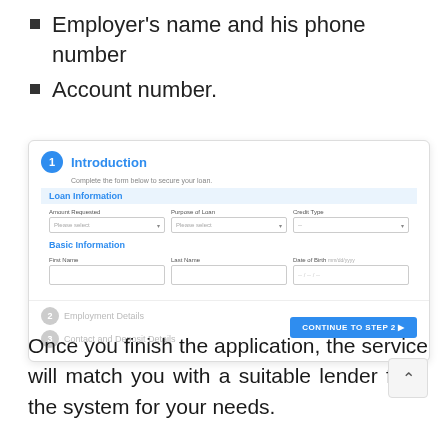Employer's name and his phone number
Account number.
[Figure (screenshot): Loan application form screenshot showing 'Introduction' step 1 with fields for Amount Requested, Purpose of Loan, Credit Type, First Name, Last Name, Date of Birth. Steps 2 (Employment Details) and 3 (Contact and Deposit Details) are below. A 'CONTINUE TO STEP 2' button is visible.]
Once you finish the application, the service will match you with a suitable lender from the system for your needs.